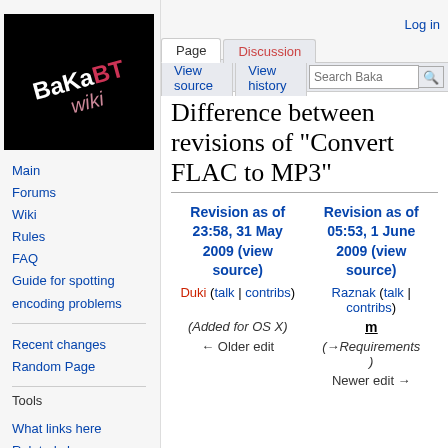[Figure (logo): BakaBT Wiki logo: black background with stylized text 'BakaBT wiki' in white and pink/red]
Main
Forums
Wiki
Rules
FAQ
Guide for spotting encoding problems
Recent changes
Random Page
Tools
What links here
Related changes
Log in
Difference between revisions of "Convert FLAC to MP3"
| Revision as of 23:58, 31 May 2009 (view source) | Revision as of 05:53, 1 June 2009 (view source) |
| --- | --- |
| Duki (talk | contribs) | Raznak (talk | contribs) |
| (Added for OS X) | m |
| ← Older edit | (→Requirements) |
|  | Newer edit → |